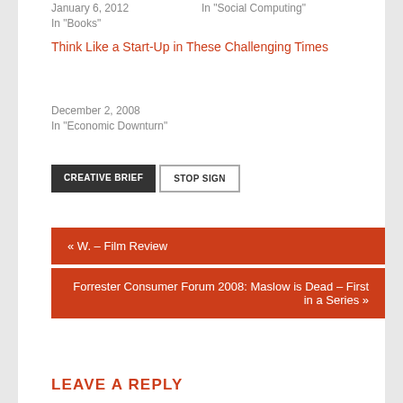January 6, 2012
In "Books"
In "Social Computing"
Think Like a Start-Up in These Challenging Times
December 2, 2008
In "Economic Downturn"
CREATIVE BRIEF
STOP SIGN
« W. – Film Review
Forrester Consumer Forum 2008: Maslow is Dead – First in a Series »
LEAVE A REPLY